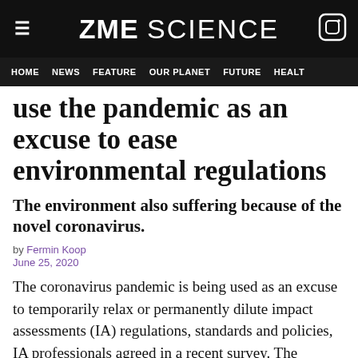ZME SCIENCE — HOME | NEWS | FEATURE | OUR PLANET | FUTURE | HEALT
use the pandemic as an excuse to ease environmental regulations
The environment also suffering because of the novel coronavirus.
by Fermin Koop
June 25, 2020
The coronavirus pandemic is being used as an excuse to temporarily relax or permanently dilute impact assessments (IA) regulations, standards and policies, IA professionals agreed in a recent survey. The